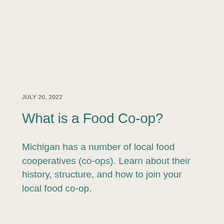JULY 20, 2022
What is a Food Co-op?
Michigan has a number of local food cooperatives (co-ops). Learn about their history, structure, and how to join your local food co-op.